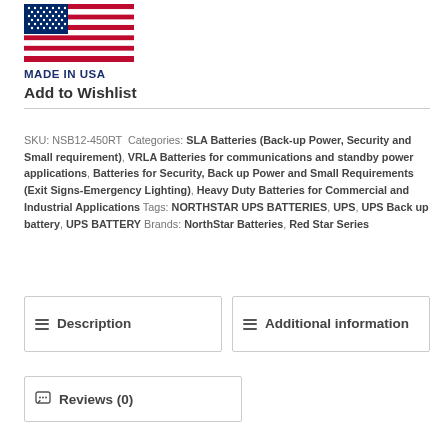[Figure (logo): Made in USA logo with American flag graphic and bold text MADE IN USA below]
Add to Wishlist
SKU: NSB12-450RT Categories: SLA Batteries (Back-up Power, Security and Small requirement), VRLA Batteries for communications and standby power applications, Batteries for Security, Back up Power and Small Requirements (Exit Signs-Emergency Lighting), Heavy Duty Batteries for Commercial and Industrial Applications Tags: NORTHSTAR UPS BATTERIES, UPS, UPS Back up battery, UPS BATTERY Brands: NorthStar Batteries, Red Star Series
Description
Additional information
Reviews (0)